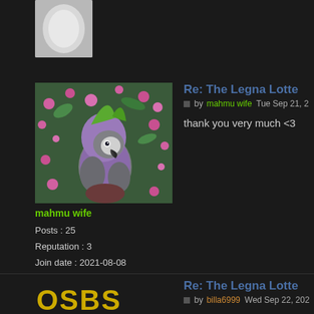[Figure (photo): Partial view of a previous post avatar at the top of the page, showing an egg/round white object against dark background]
[Figure (photo): A grey African parrot wearing a purple and green costume/hat, surrounded by pink flowers in background]
mahmu wife
Posts : 25
Reputation : 3
Join date : 2021-08-08
Re: The Legna Lotte
by mahmu wife Tue Sep 21, 2
thank you very much <3
Re: The Legna Lotte
by billa6999 Wed Sep 22, 202
[Figure (logo): OSBS logo in yellow text, partially visible at bottom left]